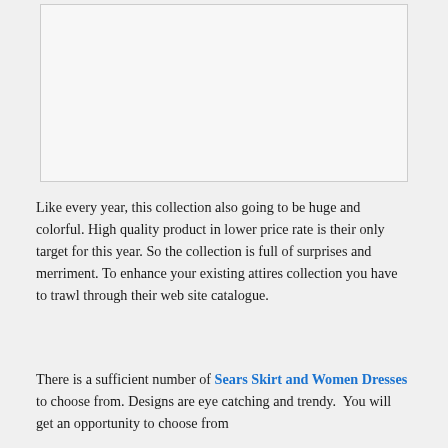[Figure (other): Blank/empty image placeholder with light gray background and border]
Like every year, this collection also going to be huge and colorful. High quality product in lower price rate is their only target for this year. So the collection is full of surprises and merriment. To enhance your existing attires collection you have to trawl through their web site catalogue.
There is a sufficient number of Sears Skirt and Women Dresses to choose from. Designs are eye catching and trendy.  You will get an opportunity to choose from